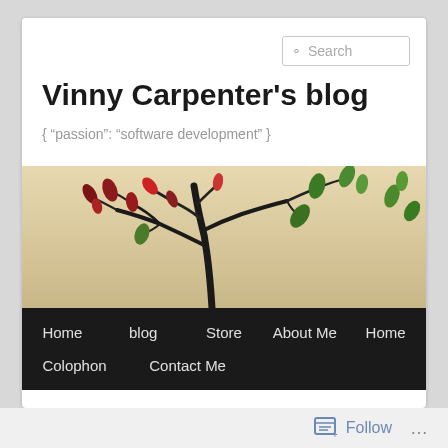Vinny Carpenter’s blog
{ “passion”: “software development” }
[Figure (photo): Bonsai tree with sparse red and green leaves against a warm beige background]
Home
blog
Store
About Me
Home
Colophon
Contact Me
Follow ...